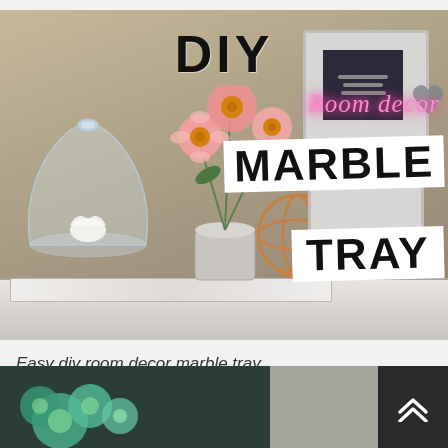[Figure (photo): DIY Room Decor Marble Tray YouTube thumbnail. Shows a shelf with a glass cloche, pink flowers in a vase, a copper orb decoration, and white frames. Overlaid text reads 'DIY', 'Room decor' (in pink neon script), 'MARBLE TRAY' (in bold black on white background).]
Easy diy room decor marble tray
[Figure (photo): Partial bottom thumbnail showing teal/mint green flowers or decorations on a dark background, partially visible.]